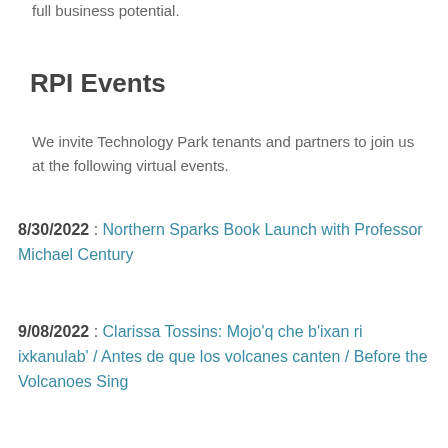full business potential.
RPI Events
We invite Technology Park tenants and partners to join us at the following virtual events.
8/30/2022 : Northern Sparks Book Launch with Professor Michael Century
9/08/2022 : Clarissa Tossins: Mojo’q che b’ixan ri ixkanulab’ / Antes de que los volcanes canten / Before the Volcanoes Sing